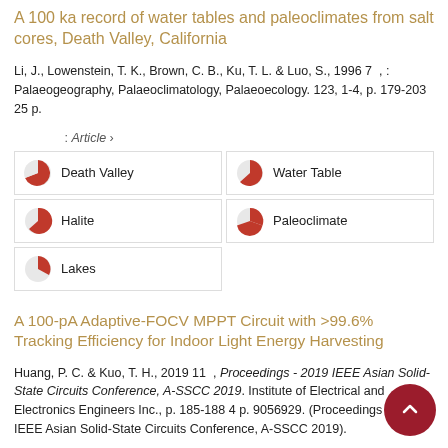A 100 ka record of water tables and paleoclimates from salt cores, Death Valley, California
Li, J., Lowenstein, T. K., Brown, C. B., Ku, T. L. & Luo, S., 1996 7 , : Palaeogeography, Palaeoclimatology, Palaeoecology. 123, 1-4, p. 179-203 25 p.
: Article ›
Death Valley
Water Table
Halite
Paleoclimate
Lakes
A 100-pA Adaptive-FOCV MPPT Circuit with >99.6% Tracking Efficiency for Indoor Light Energy Harvesting
Huang, P. C. & Kuo, T. H., 2019 11 , Proceedings - 2019 IEEE Asian Solid-State Circuits Conference, A-SSCC 2019. Institute of Electrical and Electronics Engineers Inc., p. 185-188 4 p. 9056929. (Proceedings - 2019 IEEE Asian Solid-State Circuits Conference, A-SSCC 2019).